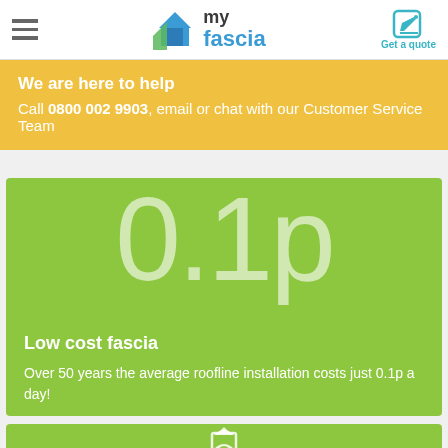my fascia — Get a quote
We are here to help. Call 0800 002 9903, email or chat with our Customer Service Team
[Figure (infographic): Large '0.1p' text on green background with Low cost fascia heading and description]
Low cost fascia
Over 50 years the average roofline installation costs just 0.1p a day!
[Figure (illustration): Partial green card with recycling/home icon at bottom of page]